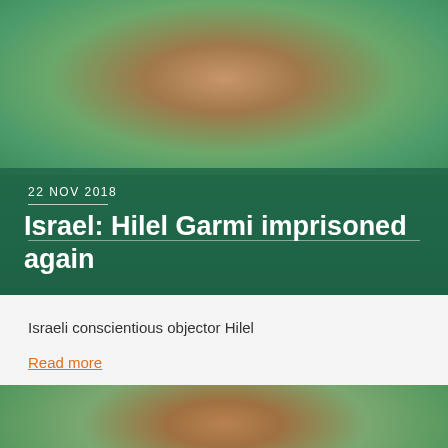[Figure (photo): Portrait photo of a young man with curly dark hair smiling, set against a green leafy background. Overlaid with dark green semi-transparent panel containing date and headline.]
22 NOV 2018
Israel: Hilel Garmi imprisoned again
Israeli conscientious objector Hilel
Read more
[Figure (photo): Portrait photo of a second young man with curly dark hair against a green leafy background, partially cropped.]